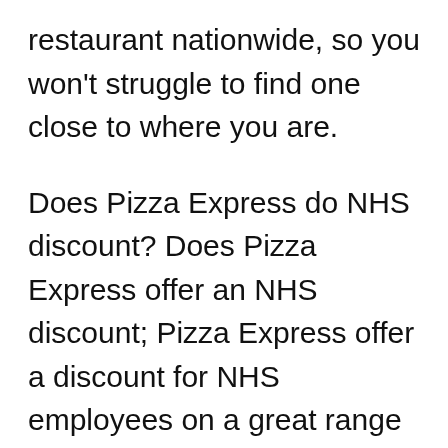restaurant nationwide, so you won't struggle to find one close to where you are.
Does Pizza Express do NHS discount? Does Pizza Express offer an NHS discount; Pizza Express offer a discount for NHS employees on a great range of deals for everyone in their offers section. Do student ... NHS discount? NHS ...